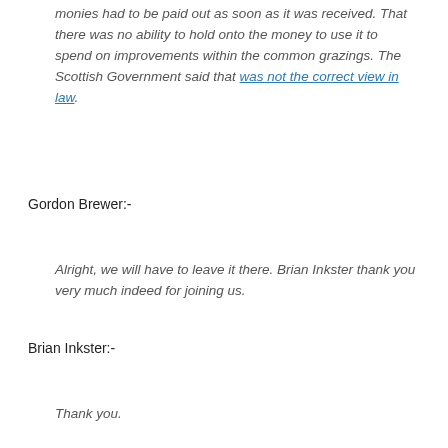monies had to be paid out as soon as it was received. That there was no ability to hold onto the money to use it to spend on improvements within the common grazings. The Scottish Government said that was not the correct view in law.
Gordon Brewer:-
Alright, we will have to leave it there. Brian Inkster thank you very much indeed for joining us.
Brian Inkster:-
Thank you.